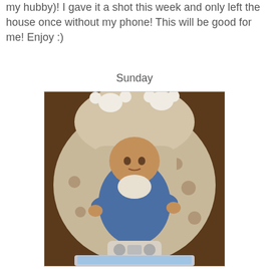my hubby)!  I gave it a shot this week and only left the house once without my phone!  This will be good for me!  Enjoy  :)
Sunday
[Figure (photo): Baby in a blue outfit sitting in a bouncy swing/rocker seat with stuffed animal toys hanging above. A laptop is visible at the bottom of the image.]